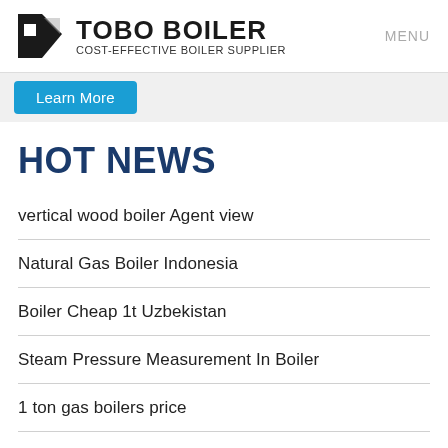TOBO BOILER COST-EFFECTIVE BOILER SUPPLIER MENU
Learn More
HOT NEWS
vertical wood boiler Agent view
Natural Gas Boiler Indonesia
Boiler Cheap 1t Uzbekistan
Steam Pressure Measurement In Boiler
1 ton gas boilers price